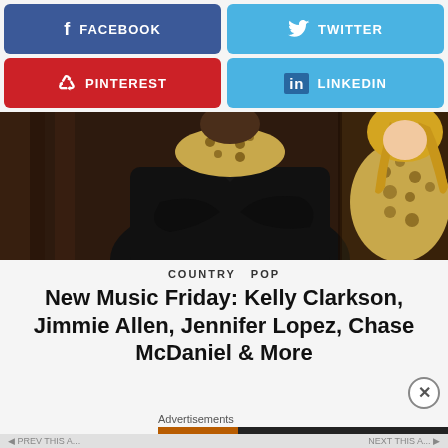[Figure (infographic): Facebook share button - blue rounded rectangle with Facebook f icon and FACEBOOK text]
[Figure (infographic): Twitter share button - light blue rounded rectangle with Twitter bird icon and TWITTER text]
[Figure (infographic): Pinterest share button - red rounded rectangle with Pinterest P icon and PINTEREST text]
[Figure (infographic): LinkedIn share button - light blue rounded rectangle with LinkedIn in icon and LINKEDIN text]
[Figure (photo): Photo of two people: person in black leather jacket with leopard print collar and blonde woman in leopard print outfit, dark wooden background]
COUNTRY  POP
New Music Friday: Kelly Clarkson, Jimmie Allen, Jennifer Lopez, Chase McDaniel & More
[Figure (infographic): Seamless food delivery advertisement banner with pizza image, seamless logo in red, and ORDER NOW button]
Advertisements